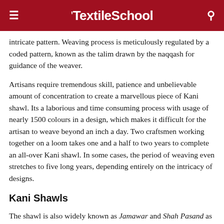TextileSchool
intricate pattern. Weaving process is meticulously regulated by a coded pattern, known as the talim drawn by the naqqash for guidance of the weaver.
Artisans require tremendous skill, patience and unbelievable amount of concentration to create a marvellous piece of Kani shawl. Its a laborious and time consuming process with usage of nearly 1500 colours in a design, which makes it difficult for the artisan to weave beyond an inch a day. Two craftsmen working together on a loom takes one and a half to two years to complete an all-over Kani shawl. In some cases, the period of weaving even stretches to five long years, depending entirely on the intricacy of designs.
Kani Shawls
The shawl is also widely known as Jamawar and Shah Pasand as the king and nobility preferred buying it and got Jama or gowns made out of it.